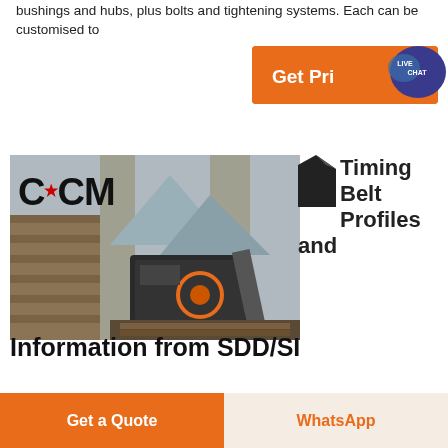bushings and hubs, plus bolts and tightening systems. Each can be customised to
[Figure (screenshot): Orange 'Get Price' button with live chat bubble overlay]
[Figure (photo): Industrial rock crushing machine with CCM logo overlay, positioned outdoors near stone wall and concrete structure]
[Figure (illustration): Timing Belt Profiles and text section with small black icon]
Information from SDD/SI
[Figure (screenshot): Bottom bar with 'Get a Quote' orange button and 'WhatsApp' beige button]